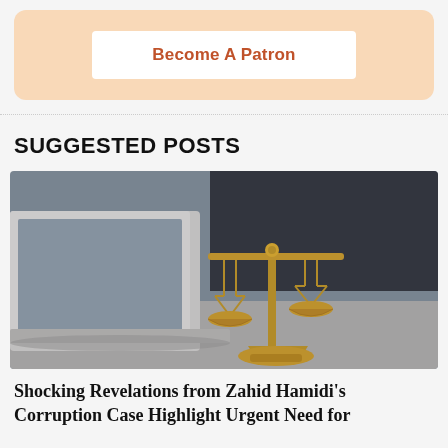[Figure (other): Become A Patron banner with orange background and white button]
SUGGESTED POSTS
[Figure (photo): Photo of a brass scales of justice on a desk next to a laptop]
Shocking Revelations from Zahid Hamidi's Corruption Case Highlight Urgent Need for